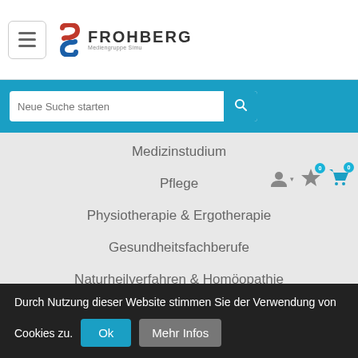[Figure (logo): Frohberg Mediengruppe Simu logo with stylized S and FROHBERG text]
Medizinstudium
Pflege
Physiotherapie & Ergotherapie
Gesundheitsfachberufe
Naturheilverfahren & Homöopathie
Krankenhaus & Management
Durch Nutzung dieser Website stimmen Sie der Verwendung von Cookies zu.
Ok
Mehr Infos